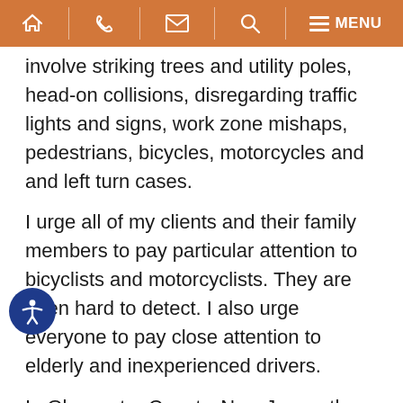Navigation bar with home, phone, email, search, and menu icons
involve striking trees and utility poles, head-on collisions, disregarding traffic lights and signs, work zone mishaps, pedestrians, bicycles, motorcycles and and left turn cases.
I urge all of my clients and their family members to pay particular attention to bicyclists and motorcyclists. They are often hard to detect. I also urge everyone to pay close attention to elderly and inexperienced drivers.
In Gloucester County, New Jersey there were 7,515 hicle crashes in 2017. This resulted in 1,893 reported injury victims and 43 fatalities. Statewide in 2017 there were 270,231 New Jersey crashes resulting in